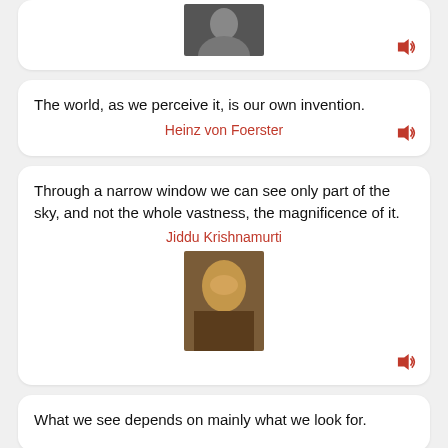[Figure (photo): Black and white portrait photo of a person at the top of the first card]
[Figure (other): Sound/speaker icon in first card]
The world, as we perceive it, is our own invention.
Heinz von Foerster
[Figure (other): Sound/speaker icon in second card]
Through a narrow window we can see only part of the sky, and not the whole vastness, the magnificence of it.
Jiddu Krishnamurti
[Figure (photo): Color portrait photo of Jiddu Krishnamurti]
[Figure (other): Sound/speaker icon in third card]
What we see depends on mainly what we look for.